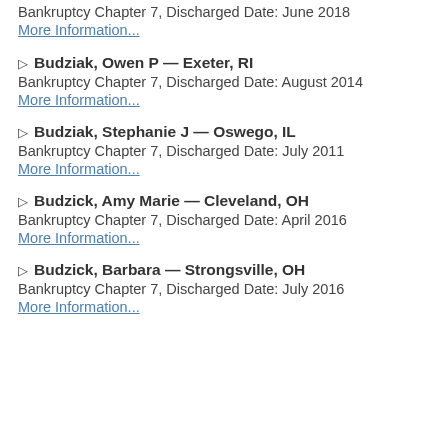Bankruptcy Chapter 7, Discharged Date: June 2018
More Information...
▶ Budziak, Owen P — Exeter, RI
Bankruptcy Chapter 7, Discharged Date: August 2014
More Information...
▶ Budziak, Stephanie J — Oswego, IL
Bankruptcy Chapter 7, Discharged Date: July 2011
More Information...
▶ Budzick, Amy Marie — Cleveland, OH
Bankruptcy Chapter 7, Discharged Date: April 2016
More Information...
▶ Budzick, Barbara — Strongsville, OH
Bankruptcy Chapter 7, Discharged Date: July 2016
More Information...